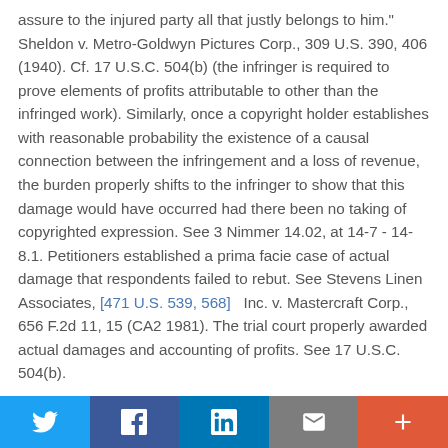assure to the injured party all that justly belongs to him." Sheldon v. Metro-Goldwyn Pictures Corp., 309 U.S. 390, 406 (1940). Cf. 17 U.S.C. 504(b) (the infringer is required to prove elements of profits attributable to other than the infringed work). Similarly, once a copyright holder establishes with reasonable probability the existence of a causal connection between the infringement and a loss of revenue, the burden properly shifts to the infringer to show that this damage would have occurred had there been no taking of copyrighted expression. See 3 Nimmer 14.02, at 14-7 - 14-8.1. Petitioners established a prima facie case of actual damage that respondents failed to rebut. See Stevens Linen Associates, [471 U.S. 539, 568]  Inc. v. Mastercraft Corp., 656 F.2d 11, 15 (CA2 1981). The trial court properly awarded actual damages and accounting of profits. See 17 U.S.C. 504(b).
Twitter | Facebook | LinkedIn | Email | More